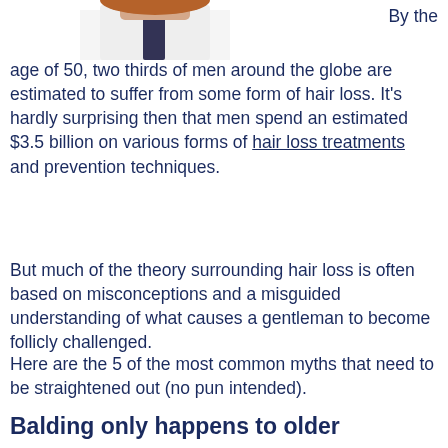[Figure (photo): Partial photo of a man in a white shirt and tie, cropped at the top of the page, showing torso and lower face area with reddish hair.]
By the age of 50, two thirds of men around the globe are estimated to suffer from some form of hair loss. It's hardly surprising then that men spend an estimated $3.5 billion on various forms of hair loss treatments and prevention techniques.
But much of the theory surrounding hair loss is often based on misconceptions and a misguided understanding of what causes a gentleman to become follicly challenged.
Here are the 5 of the most common myths that need to be straightened out (no pun intended).
Balding only happens to older